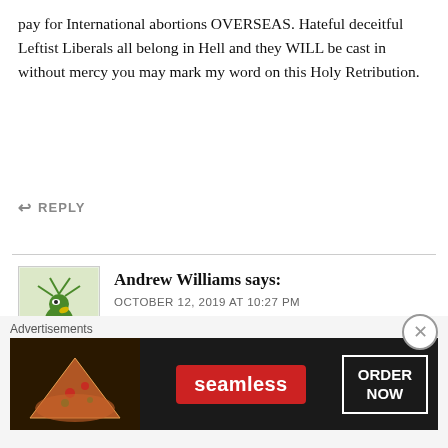pay for International abortions OVERSEAS. Hateful deceitful Leftist Liberals all belong in Hell and they WILL be cast in without mercy you may mark my word on this Holy Retribution.
↩ REPLY
Andrew Williams says:
OCTOBER 12, 2019 AT 10:27 PM
You're delusional: this rumour originated with Frank magazine, hardly a reliable source, and the headmaster from that time has dismissed the rumour as unsubstantiated. This is more American style character assassination. Talk about policies, political platforms
Advertisements
[Figure (screenshot): Seamless food delivery advertisement banner with pizza image on the left, Seamless red logo in the center, and ORDER NOW button on the right, on a dark background.]